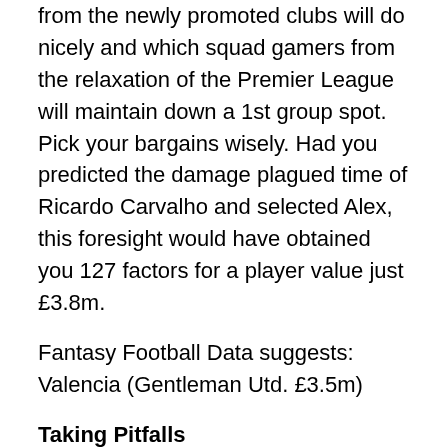from the newly promoted clubs will do nicely and which squad gamers from the relaxation of the Premier League will maintain down a 1st group spot. Pick your bargains wisely. Had you predicted the damage plagued time of Ricardo Carvalho and selected Alex, this foresight would have obtained you 127 factors for a player value just £3.8m.
Fantasy Football Data suggests: Valencia (Gentleman Utd. £3.5m)
Taking Pitfalls
As with picking out the bargain players for the period, it is also really worth searching at taking a calculated chance on some of the lesser teams and the freshly promoted groups. In most Premier League seasons there is usually on surprise team who more than achieve – Fulham very last Season, Reading in their initial year. If you can predict